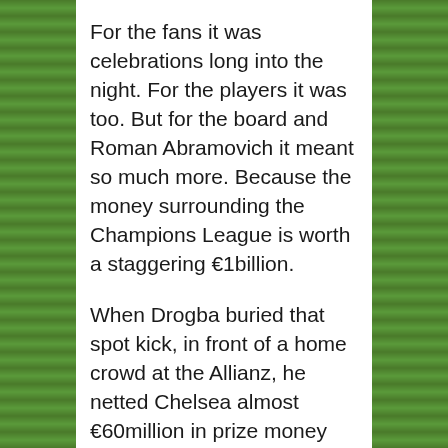For the fans it was celebrations long into the night. For the players it was too. But for the board and Roman Abramovich it meant so much more. Because the money surrounding the Champions League is worth a staggering €1billion.
When Drogba buried that spot kick, in front of a home crowd at the Allianz, he netted Chelsea almost €60million in prize money alone, and with attendance figures, sponsorships, and much more on top, it makes for a breath-taking amount.
This year will of course be no different, in fact it's set to be the most lucrative yet. An interactive guide by Billioneurofootballgame.com has estimated the money surrounding this year's match in Berlin is worth €1billion in total, taking